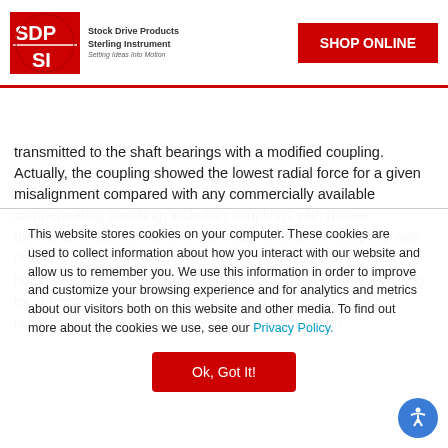Stock Drive Products Sterling Instrument - Setting Ideas Into Motion | SHOP ONLINE | Menu
transmitted to the shaft bearings with a modified coupling. Actually, the coupling showed the lowest radial force for a given misalignment compared with any commercially available compensating coupling, including couplings with rubber elements. In addition to this, the noise level at the coupling was reduced by 13 dBA to L_eq = 83 dBA. Using ultra thin-layered laminates for the same coupling would further increase its rating by at least one order of magnirude, and may even require a redesign of the shafts to accommodate such a high
This website stores cookies on your computer. These cookies are used to collect information about how you interact with our website and allow us to remember you. We use this information in order to improve and customize your browsing experience and for analytics and metrics about our visitors both on this website and other media. To find out more about the cookies we use, see our Privacy Policy.